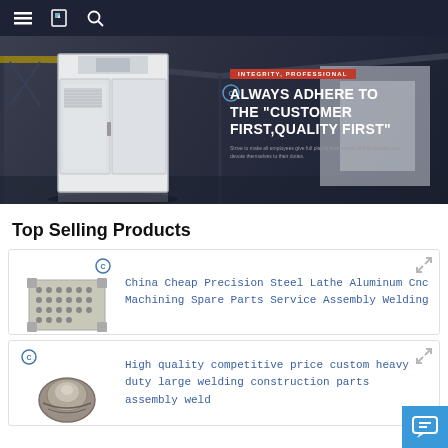Navigation bar with menu, bookmark, and search icons
[Figure (photo): Hero banner showing a white industrial steel cabinet/enclosure in a warehouse setting with text overlay reading 'INTEGRITY, PROFESSIONAL - ALWAYS ADHERE TO THE "CUSTOMER FIRST, QUALITY FIRST"' with additional small subtitle text about employees and devotion.]
Top Selling Products
[Figure (photo): Product image of a perforated aluminum CNC machined plate/part with a company logo mark]
China Cheap Precision Steel Lathe Aluminum Cnc Machining Spare Parts Service Assembly Welding
[Figure (photo): Product image of a heavy duty welded construction part assembly with a company logo mark]
High quality competitive price custom heavy duty large welding construction parts assembly weld